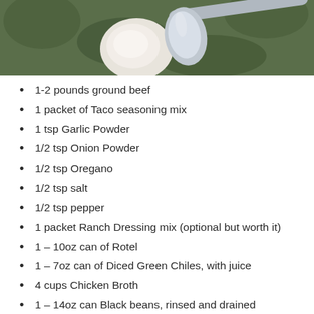[Figure (photo): Photo of a spoon and cream/yogurt against a green leafy background]
1-2 pounds ground beef
1 packet of Taco seasoning mix
1 tsp Garlic Powder
1/2 tsp Onion Powder
1/2 tsp Oregano
1/2 tsp salt
1/2 tsp pepper
1 packet Ranch Dressing mix (optional but worth it)
1 – 10oz can of Rotel
1 – 7oz can of Diced Green Chiles, with juice
4 cups Chicken Broth
1 – 14oz can Black beans, rinsed and drained